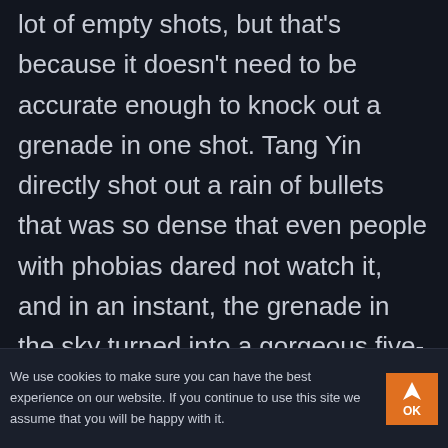lot of empty shots, but that's because it doesn't need to be accurate enough to knock out a grenade in one shot. Tang Yin directly shot out a rain of bullets that was so dense that even people with phobias dared not watch it, and in an instant, the grenade in the sky turned into a gorgeous five-step fireworks show!
We use cookies to make sure you can have the best experience on our website. If you continue to use this site we assume that you will be happy with it.